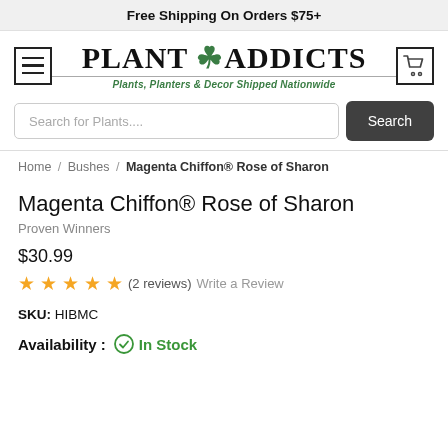Free Shipping On Orders $75+
[Figure (logo): Plant Addicts logo with hamburger menu and cart icon]
Search for Plants....
Home / Bushes / Magenta Chiffon® Rose of Sharon
Magenta Chiffon® Rose of Sharon
Proven Winners
$30.99
★★★★★ (2 reviews) Write a Review
SKU: HIBMC
Availability : In Stock